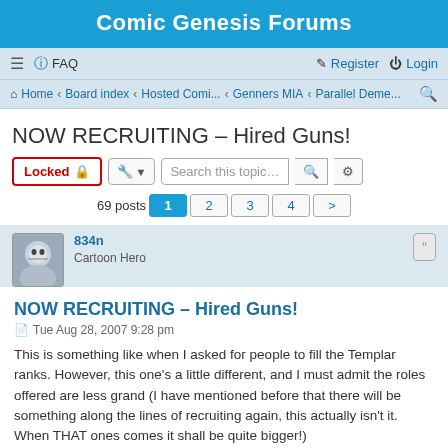Comic Genesis Forums
≡  FAQ    Register  Login
Home · Board index · Hosted Comi... · Genners MIA · Parallel Deme...
NOW RECRUITING – Hired Guns!
Locked  [tool] Search this topic…
69 posts  1  2  3  4  >
834n
Cartoon Hero
NOW RECRUITING – Hired Guns!
Tue Aug 28, 2007 9:28 pm
This is something like when I asked for people to fill the Templar ranks. However, this one's a little different, and I must admit the roles offered are less grand (I have mentioned before that there will be something along the lines of recruiting again, this actually isn't it. When THAT ones comes it shall be quite bigger!)
What I need are 10 to 12 mercenaries (one per person please), hired